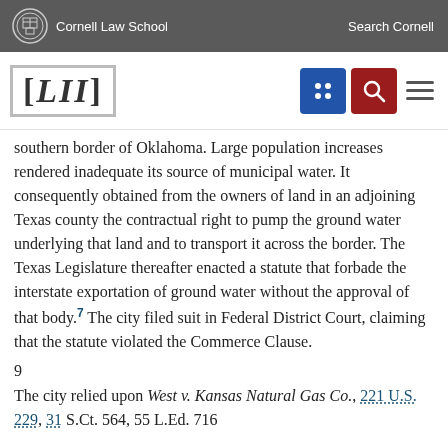Cornell Law School | Search Cornell
[Figure (logo): LII Legal Information Institute logo with navigation icons]
southern border of Oklahoma. Large population increases rendered inadequate its source of municipal water. It consequently obtained from the owners of land in an adjoining Texas county the contractual right to pump the ground water underlying that land and to transport it across the border. The Texas Legislature thereafter enacted a statute that forbade the interstate exportation of ground water without the approval of that body.7 The city filed suit in Federal District Court, claiming that the statute violated the Commerce Clause.
9
The city relied upon West v. Kansas Natural Gas Co., 221 U.S. 229, 31 S.Ct. 564, 55 L.Ed. 716